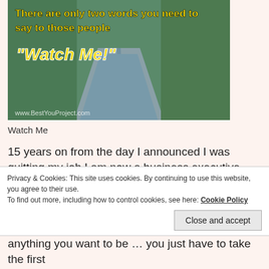[Figure (photo): Motivational image showing a country road through greenery with text overlay: 'There are only two words you need to say to those people' and '"Watch Me!"' in gold/yellow text with white outline. Watermark: www.BestYouProject.com]
Watch Me
15 years on from the day I announced I was quitting my job I am now a business executive with a career at managerial level, living in a home I only once dreamed of having, driving a car I'd always wanted, with 2 beautiful kids and an amazing wife.
Privacy & Cookies: This site uses cookies. By continuing to use this website, you agree to their use.
To find out more, including how to control cookies, see here: Cookie Policy
anything you want to be … you just have to take the first